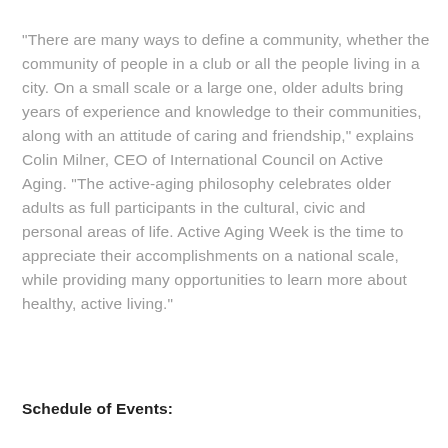“There are many ways to define a community, whether the community of people in a club or all the people living in a city. On a small scale or a large one, older adults bring years of experience and knowledge to their communities, along with an attitude of caring and friendship,” explains Colin Milner, CEO of International Council on Active Aging. “The active-aging philosophy celebrates older adults as full participants in the cultural, civic and personal areas of life. Active Aging Week is the time to appreciate their accomplishments on a national scale, while providing many opportunities to learn more about healthy, active living.”
Schedule of Events: